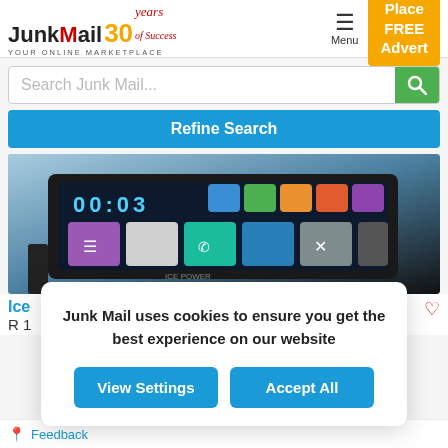[Figure (logo): Junk Mail 30 Years logo with tagline YOUR ONLINE MARKETPLACE]
[Figure (screenshot): Orange Place FREE Advert button and hamburger Menu button in header]
Search Junk Mail...
Refine Search
[Figure (photo): Car radio/head unit with touchscreen displaying time 00:03 and colorful app icons]
Ice
R 1
Junk Mail uses cookies to ensure you get the best experience on our website
View Settings
Accept All
Feedback